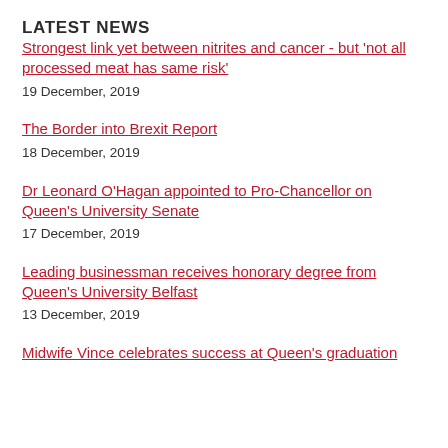LATEST NEWS
Strongest link yet between nitrites and cancer - but ‘not all processed meat has same risk’
19 December, 2019
The Border into Brexit Report
18 December, 2019
Dr Leonard O’Hagan appointed to Pro-Chancellor on Queen’s University Senate
17 December, 2019
Leading businessman receives honorary degree from Queen’s University Belfast
13 December, 2019
Midwife Vince celebrates success at Queen’s graduation